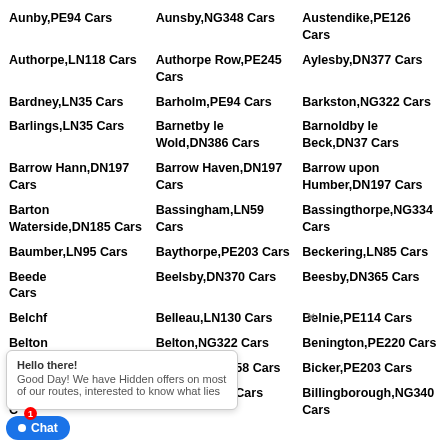Aunby,PE94 Cars
Aunsby,NG348 Cars
Austendike,PE126 Cars
Authorpe,LN118 Cars
Authorpe Row,PE245 Cars
Aylesby,DN377 Cars
Bardney,LN35 Cars
Barholm,PE94 Cars
Barkston,NG322 Cars
Barlings,LN35 Cars
Barnetby le Wold,DN386 Cars
Barnoldby le Beck,DN37 Cars
Barrow Hann,DN197 Cars
Barrow Haven,DN197 Cars
Barrow upon Humber,DN197 Cars
Barton Waterside,DN185 Cars
Bassingham,LN59 Cars
Bassingthorpe,NG334 Cars
Baumber,LN95 Cars
Baythorpe,PE203 Cars
Beckering,LN85 Cars
Beede Cars
Beelsby,DN370 Cars
Beesby,DN365 Cars
Belchf Cars
Belleau,LN130 Cars
Belnie,PE114 Cars
Belton Cars
Belton,NG322 Cars
Benington,PE220 Cars
Benniv Cars
Berkeley,DN158 Cars
Bicker,PE203 Cars
Bicker Gauntlet,PE203 Cars
Bigby,DN386 Cars
Billingborough,NG340 Cars